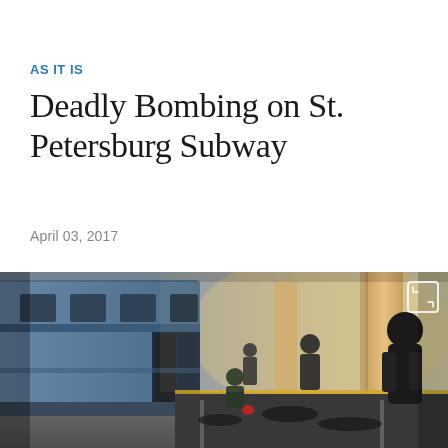AS IT IS
Deadly Bombing on St. Petersburg Subway
April 03, 2017
[Figure (photo): Scene inside a St. Petersburg subway station showing a damaged blue train car on the left, emergency responders and bystanders on the platform, with victims on the ground. The station interior has large yellow-orange columns visible in the background with smoke or haze. An expand/fullscreen icon appears in the upper right corner of the image.]